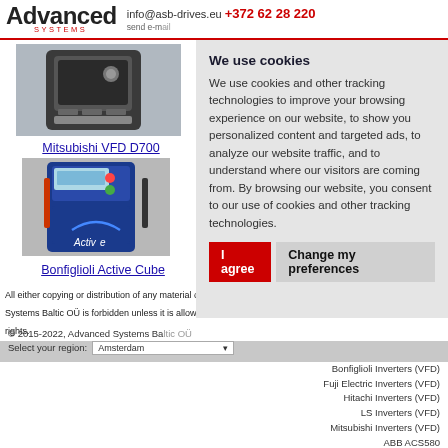Advanced SYSTEMS | info@asb-drives.eu +372 62 28 220 | send e-mail
[Figure (photo): Mitsubishi VFD D700 variable frequency drive unit photo]
Mitsubishi VFD D700
[Figure (photo): Bonfiglioli Active Cube variable frequency drive unit photo]
Bonfiglioli Active Cube
We use cookies
We use cookies and other tracking technologies to improve your browsing experience on our website, to show you personalized content and targeted ads, to analyze our website traffic, and to understand where our visitors are coming from. By browsing our website, you consent to our use of cookies and other tracking technologies.
I agree   Change my preferences
© 2015-2022, Advanced Systems Baltic OÜ | Select your region: Amsterdam
All either copying or distribution of any material or information from asb-drives.eu website of Advanced Systems Baltic OÜ is forbidden unless it is allowed exclusively upon written authorization by the possessor of rights.
Bonfiglioli Inverters (VFD)
Fuji Electric Inverters (VFD)
Hitachi Inverters (VFD)
LS Inverters (VFD)
Mitsubishi Inverters (VFD)
ABB ACS580
ABB ACS880